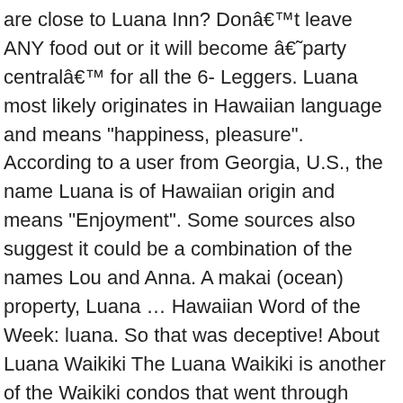are close to Luana Inn? Don't leave ANY food out or it will become â€˜party centralâ€™ for all the 6- Leggers. Luana most likely originates in Hawaiian language and means "happiness, pleasure". According to a user from Georgia, U.S., the name Luana is of Hawaiian origin and means "Enjoyment". Some sources also suggest it could be a combination of the names Lou and Anna. A makai (ocean) property, Luana … Hawaiian Word of the Week: luana. So that was deceptive! About Luana Waikiki The Luana Waikiki is another of the Waikiki condos that went through condotel conversion in the 1st decade of the 21st Century. The pool was empty. When you kill a roach, and you certainly will, flush it down the toilet. Luana was the "Playboy" Cyber Girl of the Week for December 19, 2005 and was featured in the "Playboy" newsstand special edition "Wet&